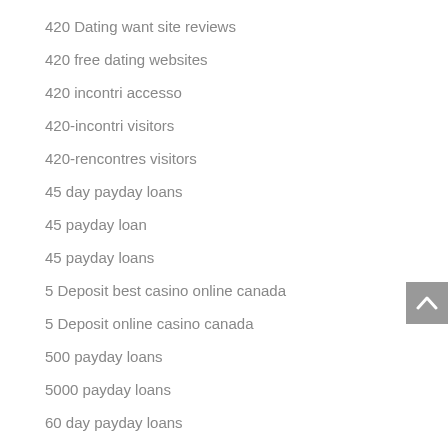420 Dating want site reviews
420 free dating websites
420 incontri accesso
420-incontri visitors
420-rencontres visitors
45 day payday loans
45 payday loan
45 payday loans
5 Deposit best casino online canada
5 Deposit online casino canada
500 payday loans
5000 payday loans
60 day payday loans
90day payday loans
a payday loans